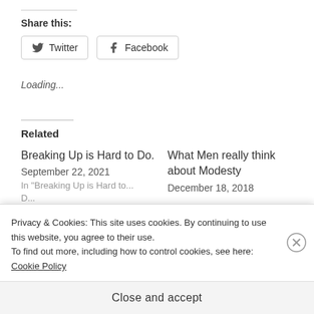Share this:
Twitter  Facebook
Loading...
Related
Breaking Up is Hard to Do.
September 22, 2021
What Men really think about Modesty
December 18, 2018
Privacy & Cookies: This site uses cookies. By continuing to use this website, you agree to their use.
To find out more, including how to control cookies, see here:
Cookie Policy
Close and accept